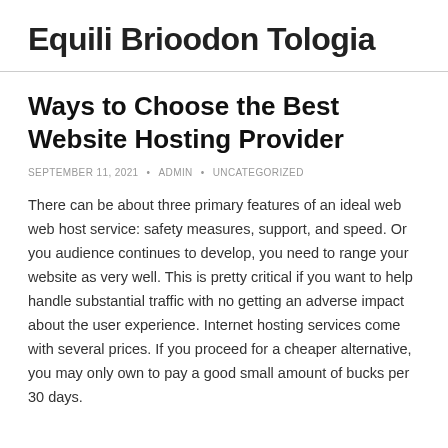Equili Brioodon Tologia
Ways to Choose the Best Website Hosting Provider
SEPTEMBER 11, 2021 • ADMIN • UNCATEGORIZED
There can be about three primary features of an ideal web web host service: safety measures, support, and speed. Or you audience continues to develop, you need to range your website as very well. This is pretty critical if you want to help handle substantial traffic with no getting an adverse impact about the user experience. Internet hosting services come with several prices. If you proceed for a cheaper alternative, you may only own to pay a good small amount of bucks per 30 days.